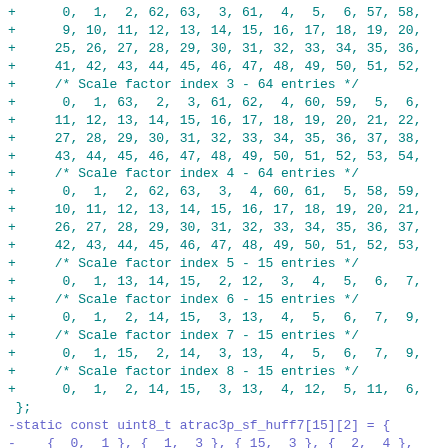Code diff showing scale factor index tables and atrac3p_sf_huff7 and atrac3p_sf_huff8 array definitions in C